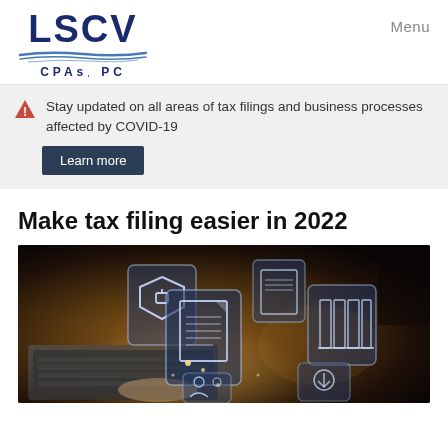LSCV CPAs, PC — Menu
Stay updated on all areas of tax filings and business processes affected by COVID-19
Learn more
Make tax filing easier in 2022
[Figure (photo): Digital technology concept photo showing floating holographic icons including a security shield with padlock, document/file icons, and a books/library icon above a laptop keyboard, with glowing light effects on a dark background.]